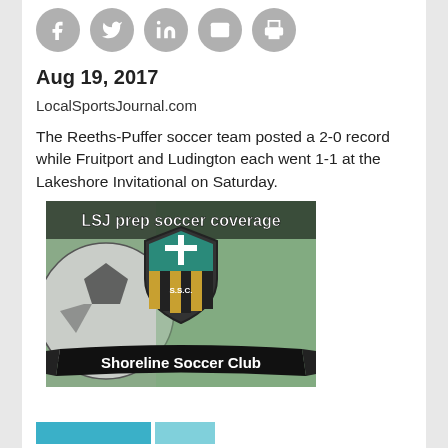[Figure (other): Social sharing icons: Facebook, Twitter, LinkedIn, Email, Print — five gray circular icons in a row]
Aug 19, 2017
LocalSportsJournal.com
The Reeths-Puffer soccer team posted a 2-0 record while Fruitport and Ludington each went 1-1 at the Lakeshore Invitational on Saturday.
[Figure (illustration): LSJ prep soccer coverage banner image featuring Shoreline Soccer Club logo with a shield emblem (S.S.C.) and a soccer ball background, with text 'LSJ prep soccer coverage' at top and 'Shoreline Soccer Club' on a black ribbon banner at the bottom]
[Figure (screenshot): Partial image at the bottom of the page showing a blue/teal colored strip, partially cut off]